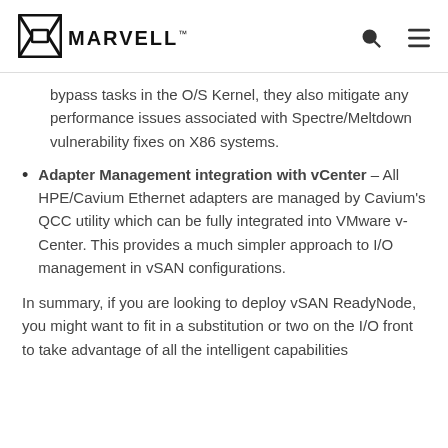MARVELL
bypass tasks in the O/S Kernel, they also mitigate any performance issues associated with Spectre/Meltdown vulnerability fixes on X86 systems.
Adapter Management integration with vCenter – All HPE/Cavium Ethernet adapters are managed by Cavium's QCC utility which can be fully integrated into VMware v-Center. This provides a much simpler approach to I/O management in vSAN configurations.
In summary, if you are looking to deploy vSAN ReadyNode, you might want to fit in a substitution or two on the I/O front to take advantage of all the intelligent capabilities